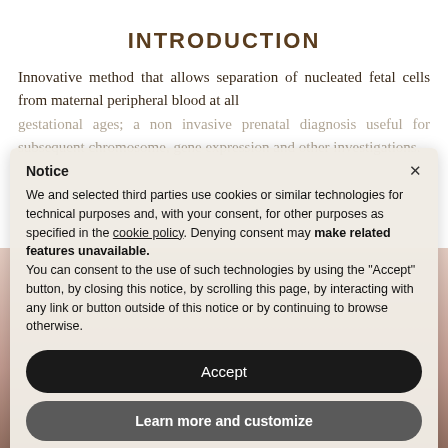INTRODUCTION
Innovative method that allows separation of nucleated fetal cells from maternal peripheral blood at all gestational ages; a non invasive prenatal diagnosis useful for subsequent chromosome, gene expression and other investigations.
Notice ×
We and selected third parties use cookies or similar technologies for technical purposes and, with your consent, for other purposes as specified in the cookie policy. Denying consent may make related features unavailable.
You can consent to the use of such technologies by using the "Accept" button, by closing this notice, by scrolling this page, by interacting with any link or button outside of this notice or by continuing to browse otherwise.
Accept
Learn more and customize
TECHNICAL FEATURES